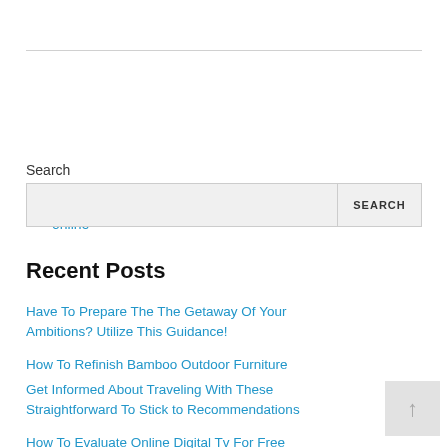slot online
Search
SEARCH
Recent Posts
Have To Prepare The The Getaway Of Your Ambitions? Utilize This Guidance!
How To Refinish Bamboo Outdoor Furniture
Get Informed About Traveling With These Straightforward To Stick to Recommendations
How To Evaluate Online Digital Tv For Free